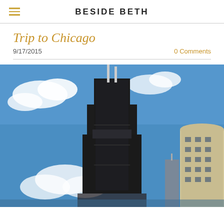BESIDE BETH
Trip to Chicago
9/17/2015
0 Comments
[Figure (photo): Photograph of the Willis Tower (formerly Sears Tower) in Chicago against a bright blue sky with scattered clouds. Two other buildings are partially visible at right. The tall dark skyscraper dominates the center of the image with its twin antenna towers at the top.]